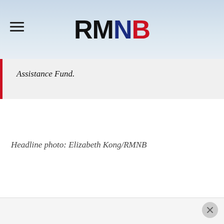RMNB
Assistance Fund.
Headline photo: Elizabeth Kong/RMNB